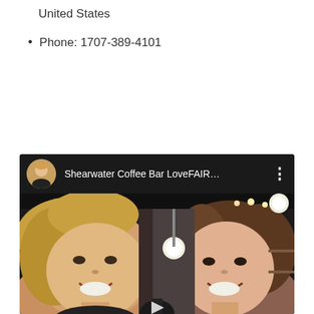United States
Phone: 1707-389-4101
[Figure (screenshot): YouTube video thumbnail showing two smiling women in a coffee bar setting. The video title reads 'Shearwater Coffee Bar LoveFAIR…'. A circular avatar of a blonde woman appears in the top-left of the video player header.]